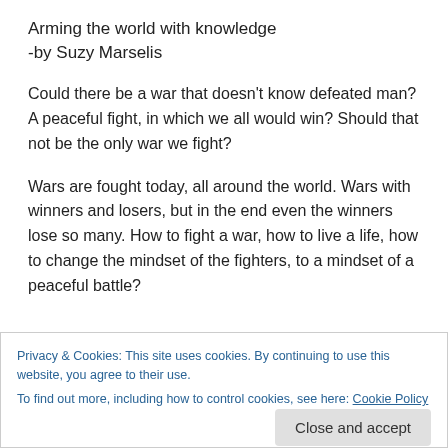Arming the world with knowledge
-by Suzy Marselis
Could there be a war that doesn’t know defeated man? A peaceful fight, in which we all would win? Should that not be the only war we fight?
Wars are fought today, all around the world. Wars with winners and losers, but in the end even the winners lose so many. How to fight a war, how to live a life, how to change the mindset of the fighters, to a mindset of a peaceful battle?
Privacy & Cookies: This site uses cookies. By continuing to use this website, you agree to their use.
To find out more, including how to control cookies, see here: Cookie Policy
Close and accept